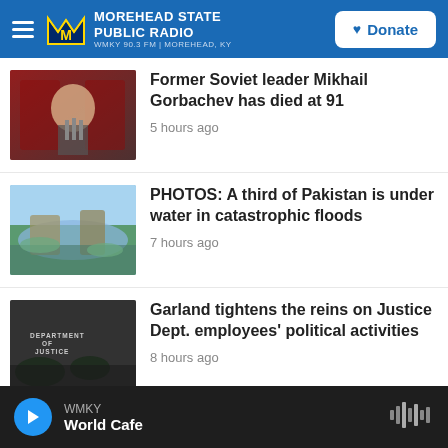MOREHEAD STATE PUBLIC RADIO — WMKY 90.3 FM | MOREHEAD, KY — Donate
[Figure (screenshot): News thumbnail: Mikhail Gorbachev speaking at podium with red background]
Former Soviet leader Mikhail Gorbachev has died at 91
5 hours ago
[Figure (screenshot): News thumbnail: flooded landscape in Pakistan with ruins and water]
PHOTOS: A third of Pakistan is under water in catastrophic floods
7 hours ago
[Figure (screenshot): News thumbnail: Department of Justice sign with foliage in foreground]
Garland tightens the reins on Justice Dept. employees' political activities
8 hours ago
[Figure (screenshot): Partial news thumbnail (cropped)]
Why even environmentalists are...
WMKY — World Cafe